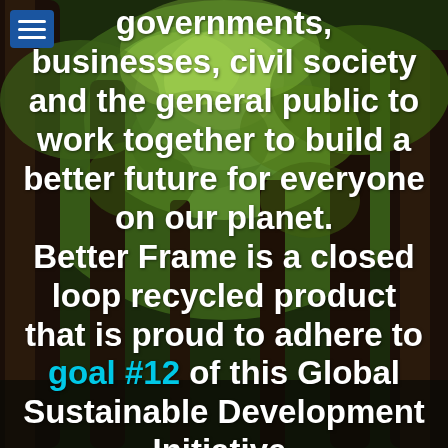[Figure (photo): Looking up through a canopy of tall trees with green foliage against a bright sky, dark bark visible. Forest background image.]
governments, businesses, civil society and the general public to work together to build a better future for everyone on our planet. Better Frame is a closed loop recycled product that is proud to adhere to goal #12 of this Global Sustainable Development Initiative.